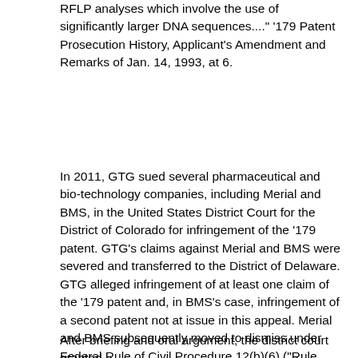RFLP analyses which involve the use of significantly larger DNA sequences...." '179 Patent Prosecution History, Applicant's Amendment and Remarks of Jan. 14, 1993, at 6.
In 2011, GTG sued several pharmaceutical and bio-technology companies, including Merial and BMS, in the United States District Court for the District of Colorado for infringement of the '179 patent. GTG's claims against Merial and BMS were severed and transferred to the District of Delaware. GTG alleged infringement of at least one claim of the '179 patent and, in BMS's case, infringement of a second patent not at issue in this appeal. Merial and BMS subsequently moved to dismiss under Federal Rule of Civil Procedure 12(b)(6) ("Rule 12(b)(6)") for failure to state a claim, arguing that the claims of GTG's patents covered ineligible subject matter under 35 U.S.C. § 101.
After briefing and oral argument, the district court granted